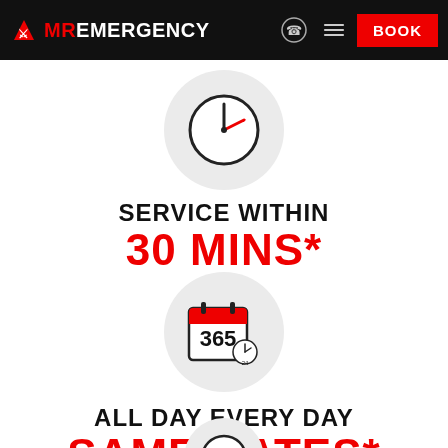MR EMERGENCY — BOOK
[Figure (illustration): Clock/stopwatch icon in a light grey circle, partially visible at top]
SERVICE WITHIN
30 MINS*
[Figure (illustration): Calendar showing 365 with a 24-hour clock icon, in a light grey circle]
ALL DAY EVERY DAY
SAME RATES*
[Figure (illustration): Dollar sign icon partially visible at bottom of page]